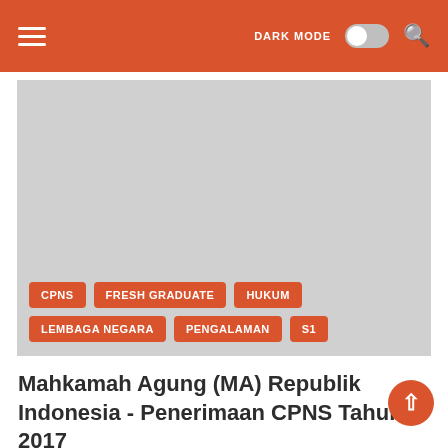DARK MODE [toggle] [search icon]
[Figure (photo): Banner image placeholder (gray rectangle) with category tags: CPNS, FRESH GRADUATE, HUKUM, LEMBAGA NEGARA, PENGALAMAN, S1]
Mahkamah Agung (MA) Republik Indonesia - Penerimaan CPNS Tahun 2017
Diposkan oleh admin
Rayapos cdcindonesia.com - The morning spirit of all job seekers, the following job vacancy in… Baca Selengkapnya »